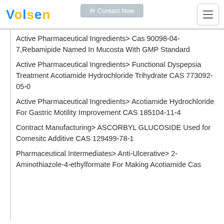Contact Now | Volsen logo | hamburger menu
Active Pharmaceutical Ingredients> Cas 90098-04-7,Rebamipide Named In Mucosta With GMP Standard
Active Pharmaceutical Ingredients> Functional Dyspepsia Treatment Acotiamide Hydrochloride Trihydrate CAS 773092-05-0
Active Pharmaceutical Ingredients> Acotiamide Hydrochloride For Gastric Motility Improvement CAS 185104-11-4
Contract Manufacturing> ASCORBYL GLUCOSIDE Used for Comesitc Additive CAS 129499-78-1
Pharmaceutical Intermediates> Anti-Ulcerative> 2-Aminothiazole-4-ethylformate For Making Acotiamide Cas